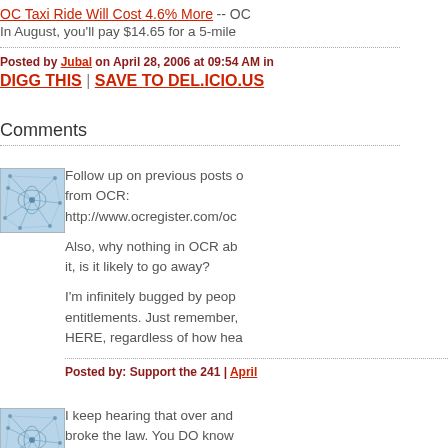OC Taxi Ride Will Cost 4.6% More -- OC
In August, you'll pay $14.65 for a 5-mile
Posted by Jubal on April 28, 2006 at 09:54 AM in
DIGG THIS | SAVE TO DEL.ICIO.US
Comments
[Figure (illustration): Blue abstract network/neural pattern avatar image]
Follow up on previous posts on from OCR: http://www.ocregister.com/oc Also, why nothing in OCR ab it, is it likely to go away? I'm infinitely bugged by peop entitlements. Just remember, HERE, regardless of how hea
Posted by: Support the 241 | April
[Figure (illustration): Blue abstract network/neural pattern avatar image]
I keep hearing that over and broke the law. You DO know